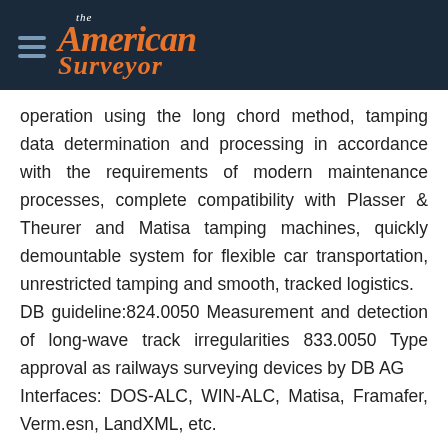The American Surveyor
operation using the long chord method, tamping data determination and processing in accordance with the requirements of modern maintenance processes, complete compatibility with Plasser & Theurer and Matisa tamping machines, quickly demountable system for flexible car transportation, unrestricted tamping and smooth, tracked logistics. DB guideline:824.0050 Measurement and detection of long-wave track irregularities 833.0050 Type approval as railways surveying devices by DB AG Interfaces: DOS-ALC, WIN-ALC, Matisa, Framafer, Verm.esn, LandXML, etc.